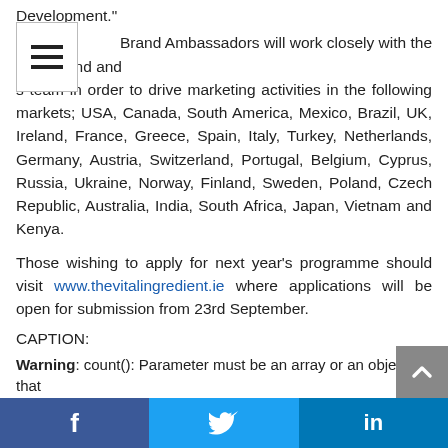Development."
Brand Ambassadors will work closely with the local brand and s team in order to drive marketing activities in the following markets; USA, Canada, South America, Mexico, Brazil, UK, Ireland, France, Greece, Spain, Italy, Turkey, Netherlands, Germany, Austria, Switzerland, Portugal, Belgium, Cyprus, Russia, Ukraine, Norway, Finland, Sweden, Poland, Czech Republic, Australia, India, South Africa, Japan, Vietnam and Kenya.
Those wishing to apply for next year's programme should visit www.thevitalingredient.ie where applications will be open for submission from 23rd September.
CAPTION:
Pictured at the launch of the 2013/14 Irish Distillers Jameson Graduate Programme are Brand Ambassadors Jamie Thompson (Netherlands), Catriona Murphy (France) and David Lynch (Spain.)
Warning: count(): Parameter must be an array or an object that